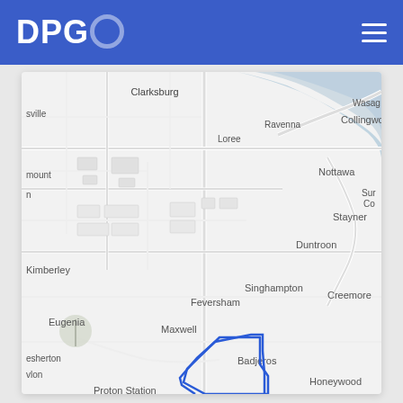DPGO
[Figure (map): Google Maps style street map showing region near Collingwood, Ontario, Canada. Visible place names include: Clarksburg, sville, Loree, Ravenna, Collingwood, Wasag, mount, n, Nottawa, Sur, Co, Stayner, Kimberley, Duntroon, Feversham, Singhampton, Creemore, Eugenia, Maxwell, esherton, vlon, Badjeros, Honeywood, Proton Station. A blue polygon outline is drawn over the lower-right portion of the map near Badjeros, Honeywood, and Proton Station.]